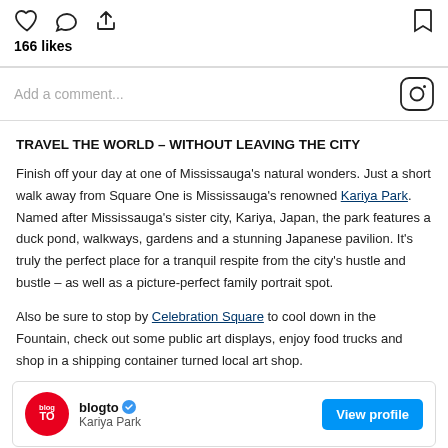[Figure (screenshot): Instagram post action icons: heart, comment, share (left), bookmark (right), with 166 likes count below]
166 likes
[Figure (screenshot): Add a comment... input bar with Instagram logo icon on right]
TRAVEL THE WORLD – WITHOUT LEAVING THE CITY
Finish off your day at one of Mississauga's natural wonders. Just a short walk away from Square One is Mississauga's renowned Kariya Park. Named after Mississauga's sister city, Kariya, Japan, the park features a duck pond, walkways, gardens and a stunning Japanese pavilion. It's truly the perfect place for a tranquil respite from the city's hustle and bustle – as well as a picture-perfect family portrait spot.
Also be sure to stop by Celebration Square to cool down in the Fountain, check out some public art displays, enjoy food trucks and shop in a shipping container turned local art shop.
[Figure (screenshot): blogto profile card with red circle logo, verified checkmark, Kariya Park subtext, and blue View profile button]